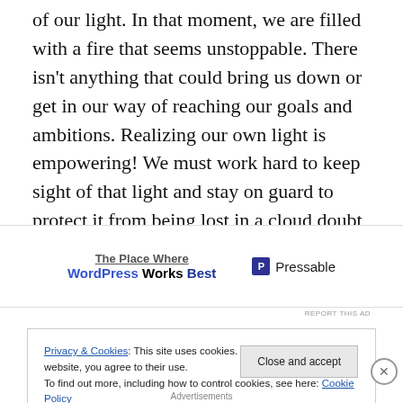of our light. In that moment, we are filled with a fire that seems unstoppable. There isn't anything that could bring us down or get in our way of reaching our goals and ambitions. Realizing our own light is empowering! We must work hard to keep sight of that light and stay on guard to protect it from being lost in a cloud doubt and negativity that others try to plant inside us.
[Figure (other): Advertisement banner: 'The Place Where WordPress Works Best' with Pressable logo]
REPORT THIS AD
Privacy & Cookies: This site uses cookies. By continuing to use this website, you agree to their use.
To find out more, including how to control cookies, see here: Cookie Policy
Close and accept
Advertisements